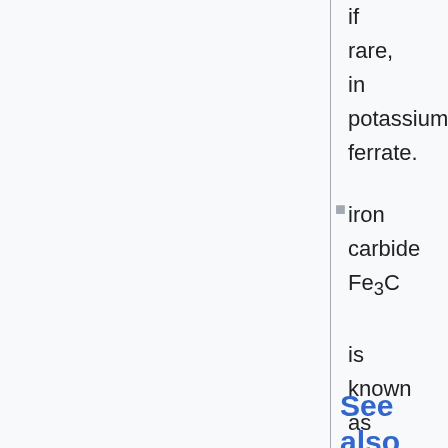if rare, in potassium ferrate.
iron carbide Fe3C is known as cementite.
See also